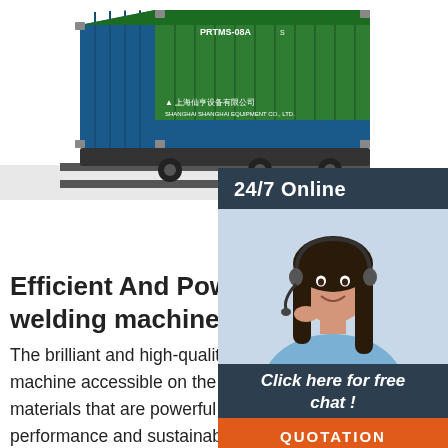[Figure (photo): Green and blue shipping container on a trailer/rail, photographed at an angle from the front-left side. Chinese text and logo visible on the container.]
[Figure (photo): Customer service agent, a young woman with dark hair wearing a headset and light blue shirt, smiling. '24/7 Online' header above, 'Click here for free chat!' text and orange 'QUOTATION' button below, all on a dark blue-grey panel on the right side.]
Efficient And Powerful clamshell welding machine - Alibaba.
The brilliant and high-quality. clamshell welding machine accessible on the site are made of materials that are powerful when it comes to performance and sustainability. These devices are sturdy due to their material and can sustain rough handling, daily usages, or any other external impacts. These. clamshell welding machine are accessible in.